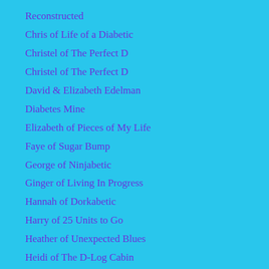Reconstructed
Chris of Life of a Diabetic
Christel of The Perfect D
Christel of The Perfect D
David & Elizabeth Edelman
Diabetes Mine
Elizabeth of Pieces of My Life
Faye of Sugar Bump
George of Ninjabetic
Ginger of Living In Progress
Hannah of Dorkabetic
Harry of 25 Units to Go
Heather of Unexpected Blues
Heidi of The D-Log Cabin
Holly of Arnold and Me